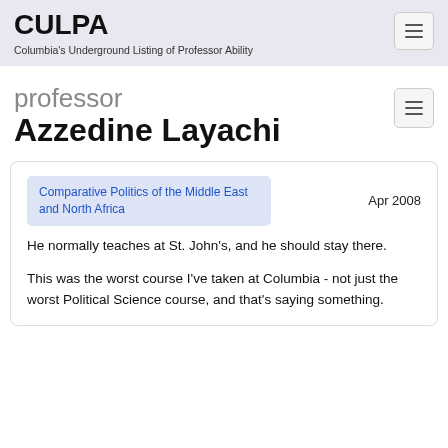CULPA
Columbia's Underground Listing of Professor Ability
professor
Azzedine Layachi
Comparative Politics of the Middle East and North Africa
Apr 2008
He normally teaches at St. John's, and he should stay there.
This was the worst course I've taken at Columbia - not just the worst Political Science course, and that's saying something.